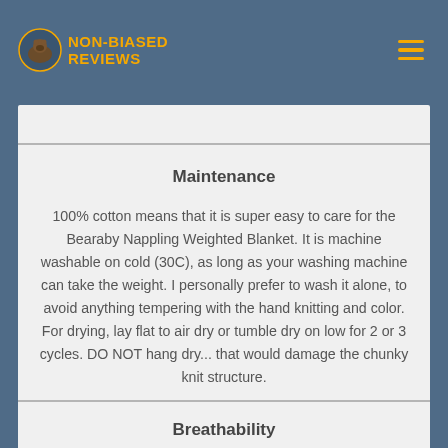NON-BIASED REVIEWS
Maintenance
100% cotton means that it is super easy to care for the Bearaby Nappling Weighted Blanket. It is machine washable on cold (30C), as long as your washing machine can take the weight. I personally prefer to wash it alone, to avoid anything tempering with the hand knitting and color. For drying, lay flat to air dry or tumble dry on low for 2 or 3 cycles. DO NOT hang dry... that would damage the chunky knit structure.
Breathability
The knits are chunky and wide, and since it is made of 100% organic cotton, the Bearaby Nappling Weighted Blanket is one of the most breathable ones we have.